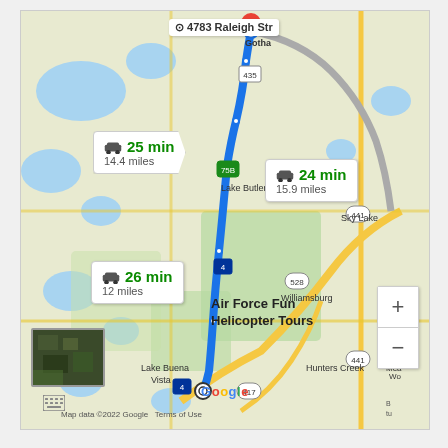[Figure (map): Google Maps screenshot showing driving routes from Air Force Fun Helicopter Tours (Lake Buena Vista area, Orlando FL) to 4783 Raleigh Street. Three route options shown: 25 min / 14.4 miles (blue highlighted), 24 min / 15.9 miles (gray), and 26 min / 12 miles. Map shows central Florida area including Lake Butler, Oak Ridge, Sky Lake, Williamsburg, Hunters Creek, Lake Buena Vista. Map data ©2022 Google.]